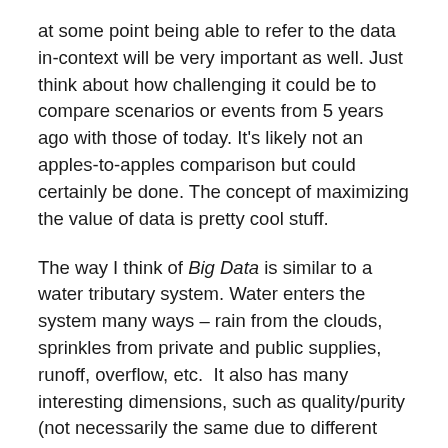at some point being able to refer to the data in-context will be very important as well. Just think about how challenging it could be to compare scenarios or events from 5 years ago with those of today. It's likely not an apples-to-apples comparison but could certainly be done. The concept of maximizing the value of data is pretty cool stuff.
The way I think of Big Data is similar to a water tributary system. Water enters the system many ways – rain from the clouds, sprinkles from private and public supplies, runoff, overflow, etc.  It also has many interesting dimensions, such as quality/purity (not necessarily the same due to different aspects of need), velocity, depth, capacity, and so forth. Not all water gets into the tributary system (e.g., some is absorbed into the groundwater tables, and some evaporate) – just as some data loss